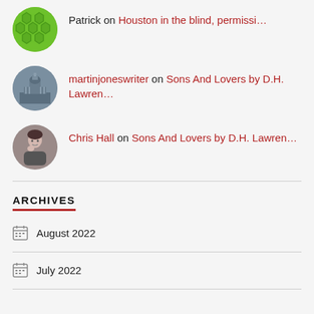Patrick on Houston in the blind, permissi…
martinjoneswriter on Sons And Lovers by D.H. Lawren…
Chris Hall on Sons And Lovers by D.H. Lawren…
ARCHIVES
August 2022
July 2022